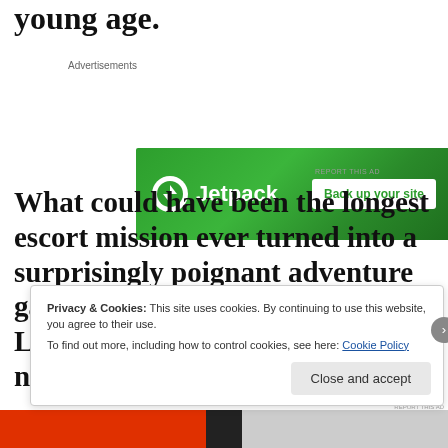young age.
[Figure (other): Jetpack advertisement banner: green background with Jetpack logo and 'Back up your site' button]
What could have been the longest escort mission ever turned into a surprisingly poignant adventure game with The Walking Dead. As Lee, we got to know a young girl named Cl...
Privacy & Cookies: This site uses cookies. By continuing to use this website, you agree to their use.
To find out more, including how to control cookies, see here: Cookie Policy
Close and accept